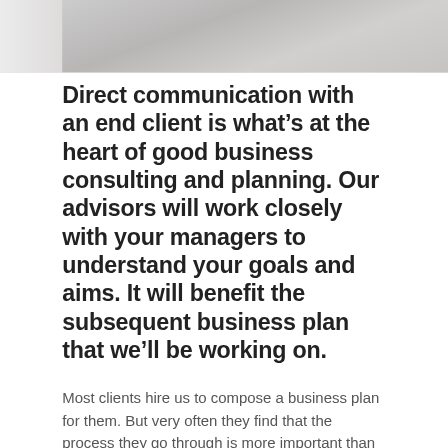[Figure (photo): Blurred/cropped photo at top of page, showing a light gray blurred background, likely a business or office scene.]
Direct communication with an end client is what’s at the heart of good business consulting and planning. Our advisors will work closely with your managers to understand your goals and aims. It will benefit the subsequent business plan that we’ll be working on.
Most clients hire us to compose a business plan for them. But very often they find that the process they go through is more important than those documents themselves.
Our business planning process is quick, thorough, and very inclusive. Though more structurally sophisticated businesses (which often includes IT technologies or any other unique business assets,